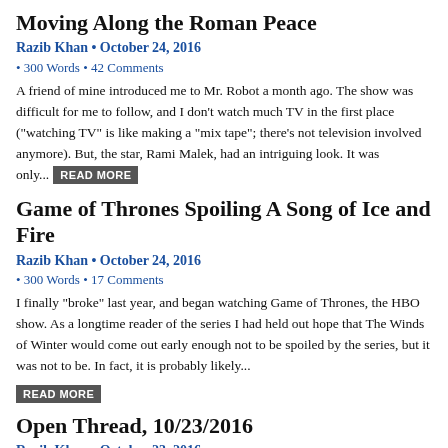Moving Along the Roman Peace
Razib Khan • October 24, 2016
• 300 Words • 42 Comments
A friend of mine introduced me to Mr. Robot a month ago. The show was difficult for me to follow, and I don't watch much TV in the first place ("watching TV" is like making a "mix tape"; there's not television involved anymore). But, the star, Rami Malek, had an intriguing look. It was only... READ MORE
Game of Thrones Spoiling A Song of Ice and Fire
Razib Khan • October 24, 2016
• 300 Words • 17 Comments
I finally "broke" last year, and began watching Game of Thrones, the HBO show. As a longtime reader of the series I had held out hope that The Winds of Winter would come out early enough not to be spoiled by the series, but it was not to be. In fact, it is probably likely...
READ MORE
Open Thread, 10/23/2016
Razib Khan • October 23, 2016
• 600 Words • 32 Comments
Bought Marie Sharpe's green habanero sauce at Granville Market. The spice level is nothing to sneeze at, and it's got a nice flavor. But the salt